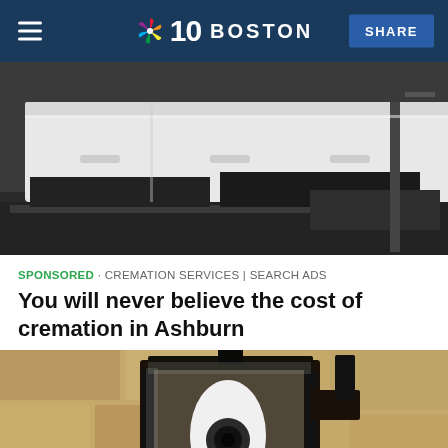NBC 10 BOSTON | SHARE
[Figure (photo): A white casket on a roller cart near cremation equipment in a funeral home]
SPONSORED · CREMATION SERVICES | SEARCH ADS
You will never believe the cost of cremation in Ashburn
[Figure (photo): Close-up of a black wall-mounted lantern-style light fixture with a white LED security camera bulb inside, mounted on a textured stone wall]